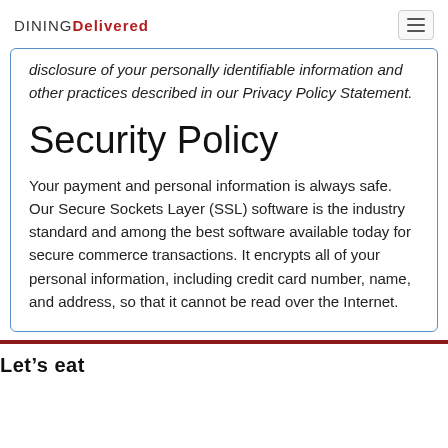DINING Delivered
disclosure of your personally identifiable information and other practices described in our Privacy Policy Statement.
Security Policy
Your payment and personal information is always safe. Our Secure Sockets Layer (SSL) software is the industry standard and among the best software available today for secure commerce transactions. It encrypts all of your personal information, including credit card number, name, and address, so that it cannot be read over the Internet.
Let's eat